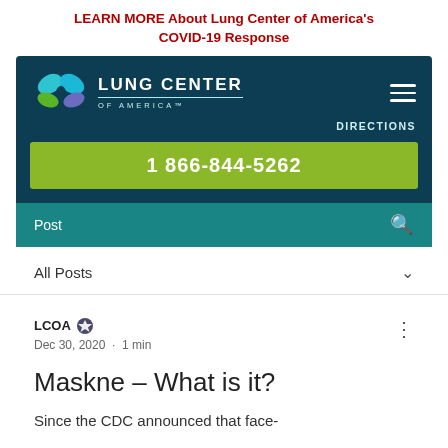LEARN MORE About Lung Center of America's COVID-19 Response
[Figure (logo): Lung Center of America logo with butterfly/leaf icon and navigation bar showing phone number 1 866-844-5262 and DIRECTIONS link]
Post
All Posts
LCOA · Dec 30, 2020 · 1 min
Maskne – What is it?
Since the CDC announced that face-